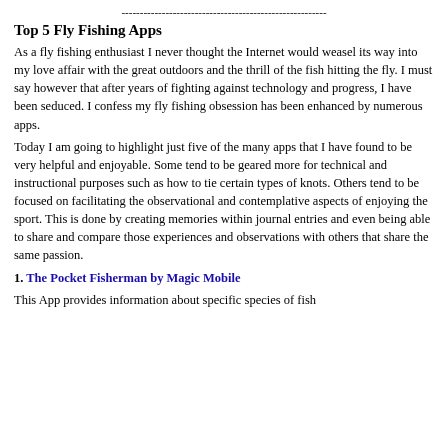--------------------------------------------------------
Top 5 Fly Fishing Apps
As a fly fishing enthusiast I never thought the Internet would weasel its way into my love affair with the great outdoors and the thrill of the fish hitting the fly. I must say however that after years of fighting against technology and progress, I have been seduced. I confess my fly fishing obsession has been enhanced by numerous apps.
Today I am going to highlight just five of the many apps that I have found to be very helpful and enjoyable. Some tend to be geared more for technical and instructional purposes such as how to tie certain types of knots. Others tend to be focused on facilitating the observational and contemplative aspects of enjoying the sport. This is done by creating memories within journal entries and even being able to share and compare those experiences and observations with others that share the same passion.
1. The Pocket Fisherman by Magic Mobile
This App provides information about specific species of fish